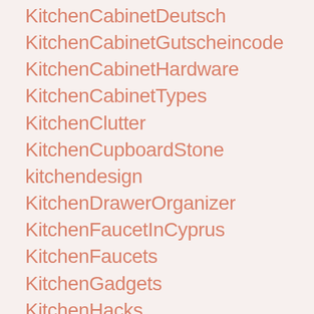KitchenCabinetDeutsch
KitchenCabinetGutscheincode
KitchenCabinetHardware
KitchenCabinetTypes
KitchenClutter
KitchenCupboardStone
kitchendesign
KitchenDrawerOrganizer
KitchenFaucetInCyprus
KitchenFaucets
KitchenGadgets
KitchenHacks
KitchenImpossibleGanzeFolgeKostenlos
KitchenIsland
kitchenlife